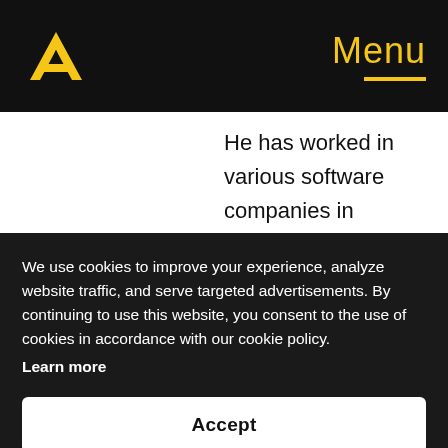Menu
He has worked in various software companies in software engineering and architecture.He authored numerous journal and conference papers that were peer-reviewed. His current research and development interests and activities in Project DIAMOnD for Automation Alley in blockchain for
We use cookies to improve your experience, analyze website traffic, and serve targeted advertisements. By continuing to use this website, you consent to the use of cookies in accordance with our cookie policy. Learn more
Accept